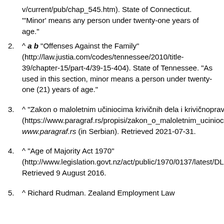v/current/pub/chap_545.htm). State of Connecticut. "'Minor' means any person under twenty-one years of age."
2. ^ a b "Offenses Against the Family" (http://law.justia.com/codes/tennessee/2010/title-39/chapter-15/part-4/39-15-404). State of Tennessee. "As used in this section, minor means a person under twenty-one (21) years of age."
3. ^ "Zakon o maloletnim učiniocima krivičnih dela i krivičnopravnoj zaštiti maloletnih lica" (https://www.paragraf.rs/propisi/zakon_o_maloletnim_uciniocima_krivicnih_dela_i_krivicnopravnoj_zastiti_maloletnih_lica.html). www.paragraf.rs (in Serbian). Retrieved 2021-07-31.
4. ^ "Age of Majority Act 1970" (http://www.legislation.govt.nz/act/public/1970/0137/latest/DLM396495.html). Retrieved 9 August 2016.
5. ^ Richard Rudman. Zealand Employment Law